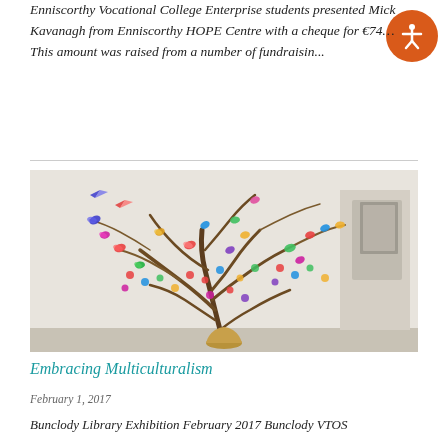Enniscorthy Vocational College Enterprise students presented Mick Kavanagh from Enniscorthy HOPE Centre with a cheque for €74... This amount was raised from a number of fundraisin...
Read more »
[Figure (photo): A decorative tree sculpture adorned with many colourful paper butterflies and ornaments, displayed in an indoor setting against a white wall with a framed picture visible on the right side.]
Embracing Multiculturalism
February 1, 2017
Bunclody Library Exhibition February 2017 Bunclody VTOS